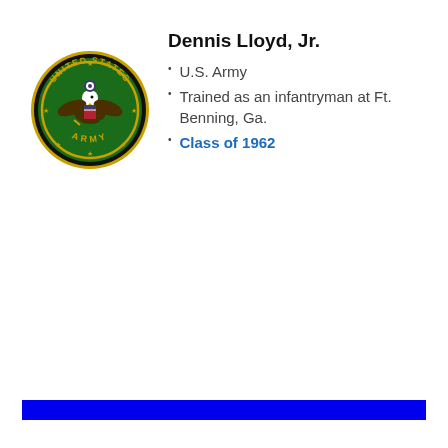[Figure (logo): U.S. Army circular seal with eagle, shield, text 'United States Army' and stars on dark background with gold border]
Dennis Lloyd, Jr.
U.S. Army
Trained as an infantryman at Ft. Benning, Ga.
Class of 1962